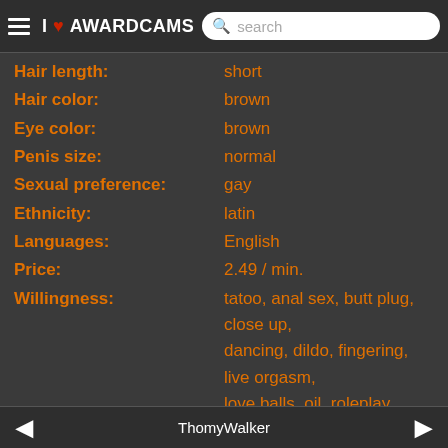I AWARDCAMS search
Hair length: short
Hair color: brown
Eye color: brown
Penis size: normal
Sexual preference: gay
Ethnicity: latin
Languages: English
Price: 2.49 / min.
Willingness: tatoo, anal sex, butt plug, close up, dancing, dildo, fingering, live orgasm, love balls, oil, roleplay, smoke cigarette, strap on, striptease, vibrator, deepthroat, footsex, snapshot
MODEL THOMYWALKER
I am every enterprising young man from Medellín, Colombia with a lot of fun to offer yo
ThomyWalker